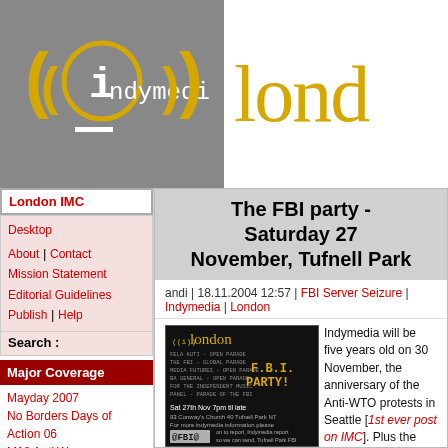[Figure (logo): Indymedia logo — grey box with yellow radio-wave parentheses and white 'i' with 'ndymedi' text]
lond (partially visible)
London IMC
Desktop
About | Contact Mission Statement Editorial Guidelines Publish | Help
Search :
Major Coverage
Mayday 2007
No Borders Days of Action 06
M18 Anti War
Mayday 2006
Refugee Week 2006
SOCPA
Day of Action Against Migration Controls
DSEi 2005
ESF 2004
The FBI party - Saturday 27 November, Tufnell Park
andi | 18.11.2004 12:57 | FBI Server Seizure | Indymedia | London
[Figure (illustration): Indymedia London FBI Party flyer — black background with yellow London logo, FBI Party text, Sat 27th Nov 7pm til late, FBI logo]
Indymedia will be five years old on 30 November, the anniversary of the Anti-WTO protests in Seattle [1st ever post on IMC]. Plus the FBI has seized a London-based server that was used by 20 IMC's worldwide.
So we'll combine the celebration with the need to raise money for new servers and invite everybody to the Fifth Birthday of Insurrection